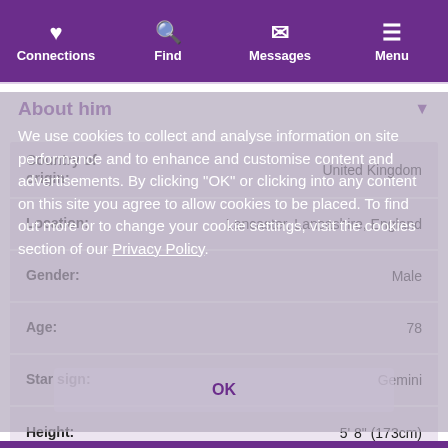Connections | Find | Messages | Menu
About him
| Field | Value |
| --- | --- |
| Country of origin: | United Kingdom |
| Location: | Lancaster, Lancashire, England |
| Gender: | Male |
| Age: | 78 |
| Star sign: | Gemini |
| Height: | 5' 8" (173cm) |
We use cookies to collect and analyse information on site performance and to enhance and customise content and advertisements. By clicking "OK" or clicking into any content on this site you agree to allow cookies to be placed. To find out more or to change your cookie settings, visit the cookies section of our Privacy Policy.